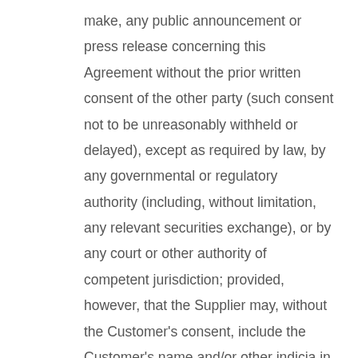make, any public announcement or press release concerning this Agreement without the prior written consent of the other party (such consent not to be unreasonably withheld or delayed), except as required by law, by any governmental or regulatory authority (including, without limitation, any relevant securities exchange), or by any court or other authority of competent jurisdiction; provided, however, that the Supplier may, without the Customer's consent, include the Customer's name and/or other indicia in its lists of the Supplier's current or former customers in promotional and marketing materials.